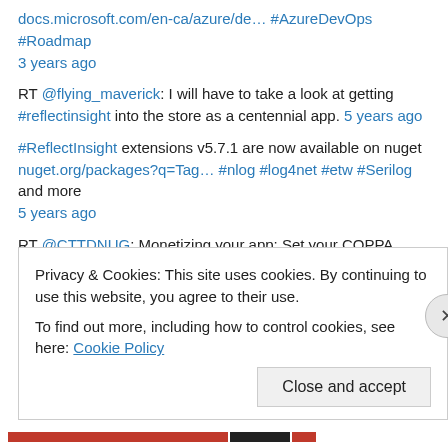docs.microsoft.com/en-ca/azure/de… #AzureDevOps #Roadmap 3 years ago
RT @flying_maverick: I will have to take a look at getting #reflectinsight into the store as a centennial app. 5 years ago
#ReflectInsight extensions v5.7.1 are now available on nuget nuget.org/packages?q=Tag… #nlog #log4net #etw #Serilog and more 5 years ago
RT @CTTDNUG: Monetizing your app: Set your COPPA settings for your app buff.ly/2tuj51i via @windowsblog 5 years ago
RT @BuildAzure: #Azure CLI 2.0: Generate SAS Token for Blob in Azure Storage buff.ly/2rrCHG7 5 years ago
Privacy & Cookies: This site uses cookies. By continuing to use this website, you agree to their use.
To find out more, including how to control cookies, see here: Cookie Policy